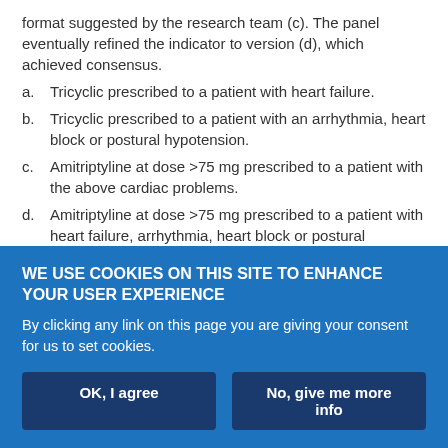format suggested by the research team (c). The panel eventually refined the indicator to version (d), which achieved consensus.
a. Tricyclic prescribed to a patient with heart failure.
b. Tricyclic prescribed to a patient with an arrhythmia, heart block or postural hypotension.
c. Amitriptyline at dose >75 mg prescribed to a patient with the above cardiac problems.
d. Amitriptyline at dose >75 mg prescribed to a patient with heart failure, arrhythmia, heart block or postural hypotension.
Consensus process
WE USE COOKIES ON THIS SITE TO ENHANCE YOUR USER EXPERIENCE
By clicking any link on this page you are giving your consent for us to set cookies.